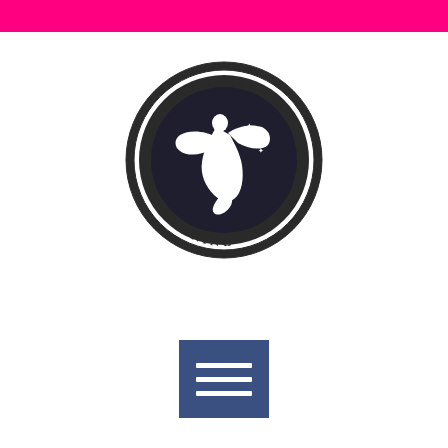[Figure (logo): Pink horizontal bar at the top of the page]
[Figure (logo): Malvern Buzzards Running circular logo with a buzzard/hawk silhouette in white on dark background, surrounded by text 'MALVERN BUZZARDS' at top and 'RUNNING' at bottom with star decorations]
[Figure (other): Dark blue square menu button with three horizontal white lines (hamburger menu icon)]